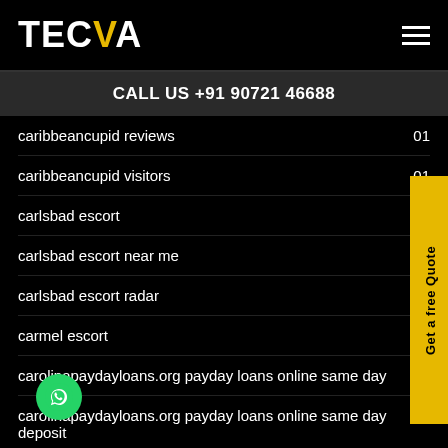TECVA
CALL US +91 90721 46688
caribbeancupid reviews  01
caribbeancupid visitors  01
carlsbad escort
carlsbad escort near me
carlsbad escort radar
carmel escort
carolinapaydayloans.org payday loans online same day  01
carolinapaydayloans.org payday loans online same day deposit  01
carrollton escort index  01